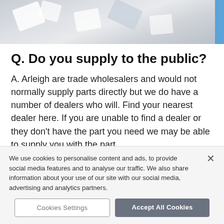[Figure (photo): Hero image showing blurred white paper/object pieces on a grey background with a blue accent bar on the right edge]
Q. Do you supply to the public?
A. Arleigh are trade wholesalers and would not normally supply parts directly but we do have a number of dealers who will. Find your nearest dealer here. If you are unable to find a dealer or they don't have the part you need we may be able to supply you with the part.
We use cookies to personalise content and ads, to provide social media features and to analyse our traffic. We also share information about your use of our site with our social media, advertising and analytics partners.